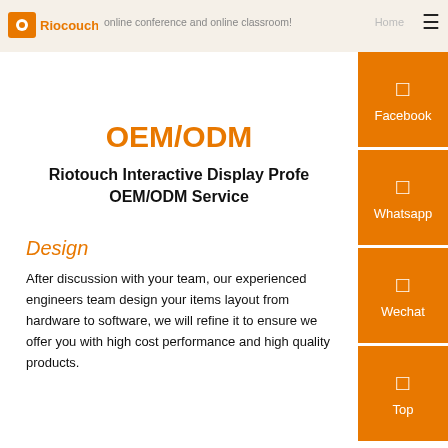online conference and online classroom!
[Figure (logo): Riotouch logo with orange text and icon]
OEM/ODM
Riotouch Interactive Display Profe OEM/ODM Service
Design
After discussion with your team, our experienced engineers team design your items layout from hardware to software, we will refine it to ensure we offer you with high cost performance and high quality products.